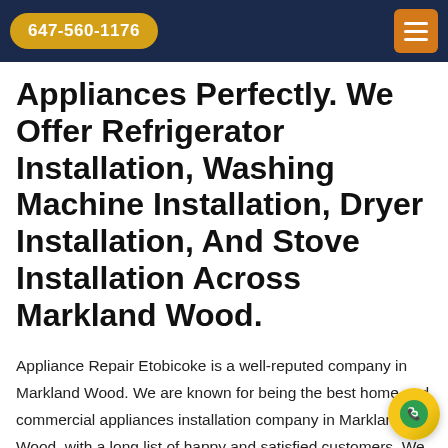647-560-1176
Appliances Perfectly. We Offer Refrigerator Installation, Washing Machine Installation, Dryer Installation, And Stove Installation Across Markland Wood.
Appliance Repair Etobicoke is a well-reputed company in Markland Wood. We are known for being the best home and commercial appliances installation company in Markland Wood, with a long list of happy and satisfied customers. We offer